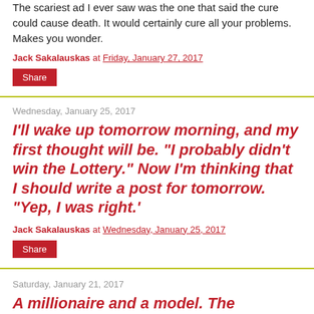The scariest ad I ever saw was the one that said the cure could cause death. It would certainly cure all your problems. Makes you wonder.
Jack Sakalauskas at Friday, January 27, 2017
Share
Wednesday, January 25, 2017
I'll wake up tomorrow morning, and my first thought will be. "I probably didn't win the Lottery." Now I'm thinking that I should write a post for tomorrow. "Yep, I was right.'
Jack Sakalauskas at Wednesday, January 25, 2017
Share
Saturday, January 21, 2017
A millionaire and a model. The American